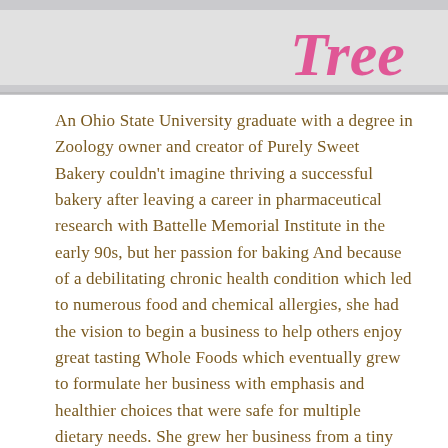[Figure (photo): Partial photo of a sign with pink cursive lettering on a white background, showing partial text that appears to read 'Tree' or similar, cropped at top of page.]
An Ohio State University graduate with a degree in Zoology owner and creator of Purely Sweet Bakery couldn't imagine thriving a successful bakery after leaving a career in pharmaceutical research with Battelle Memorial Institute in the early 90s, but her passion for baking And because of a debilitating chronic health condition which led to numerous food and chemical allergies, she had the vision to begin a business to help others enjoy great tasting Whole Foods which eventually grew to formulate her business with emphasis and healthier choices that were safe for multiple dietary needs. She grew her business from a tiny Roadside Farmers Market where she now services wholesale accounts and enjoys a new retail presence with the coffee shop